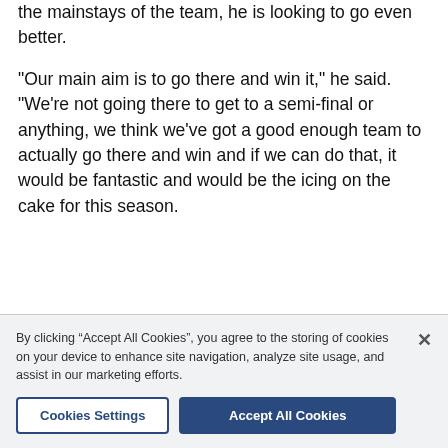the mainstays of the team, he is looking to go even better.
"Our main aim is to go there and win it," he said. "We're not going there to get to a semi-final or anything, we think we've got a good enough team to actually go there and win and if we can do that, it would be fantastic and would be the icing on the cake for this season.
By clicking “Accept All Cookies”, you agree to the storing of cookies on your device to enhance site navigation, analyze site usage, and assist in our marketing efforts.